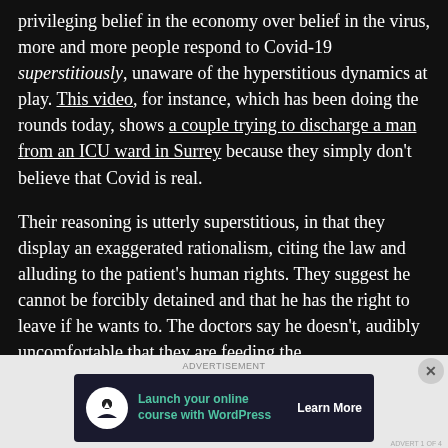privileging belief in the economy over belief in the virus, more and more people respond to Covid-19 superstitiously, unaware of the hyperstitious dynamics at play. This video, for instance, which has been doing the rounds today, shows a couple trying to discharge a man from an ICU ward in Surrey because they simply don't believe that Covid is real.
Their reasoning is utterly superstitious, in that they display an exaggerated rationalism, citing the law and alluding to the patient's human rights. They suggest he cannot be forcibly detained and that he has the right to leave if he wants to. The doctors say he doesn't, audibly uncomfortable that they are feeding the
[Figure (other): Advertisement banner: 'Launch your online course with WordPress' with Learn More call to action button, on dark navy background with teal text and white icon]